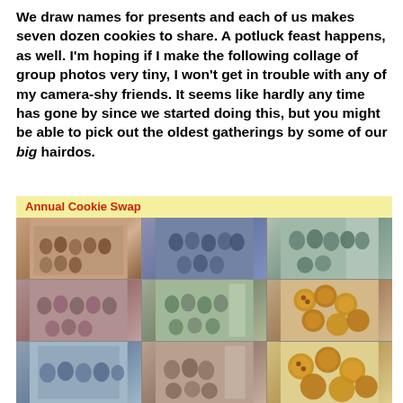We draw names for presents and each of us makes seven dozen cookies to share. A potluck feast happens, as well. I'm hoping if I make the following collage of group photos very tiny, I won't get in trouble with any of my camera-shy friends. It seems like hardly any time has gone by since we started doing this, but you might be able to pick out the oldest gatherings by some of our big hairdos.
[Figure (photo): Collage of group photos labeled 'Annual Cookie Swap' showing multiple gatherings of women at holiday cookie swap events across different years, with a photo of cookies in the lower right corner.]